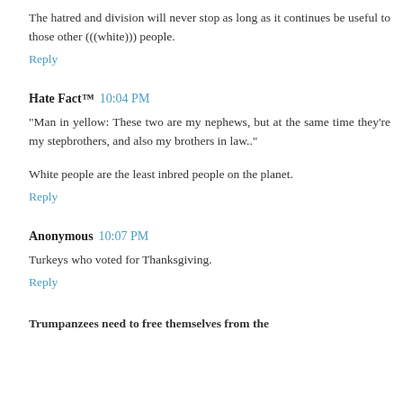The hatred and division will never stop as long as it continues be useful to those other (((white))) people.
Reply
Hate Fact™  10:04 PM
"Man in yellow: These two are my nephews, but at the same time they're my stepbrothers, and also my brothers in law.."
White people are the least inbred people on the planet.
Reply
Anonymous  10:07 PM
Turkeys who voted for Thanksgiving.
Reply
Trumpanzees need to free themselves from the